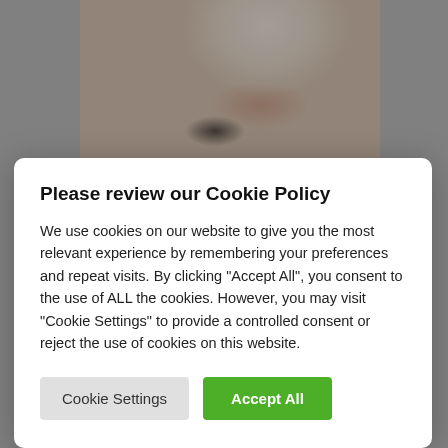[Figure (photo): Background showing a smiling person and a magenta Deutsche Telekom banner with text 'explore the life in Magenta!' and T-Mobile logo]
Please review our Cookie Policy
We use cookies on our website to give you the most relevant experience by remembering your preferences and repeat visits. By clicking "Accept All", you consent to the use of ALL the cookies. However, you may visit "Cookie Settings" to provide a controlled consent or reject the use of cookies on this website.